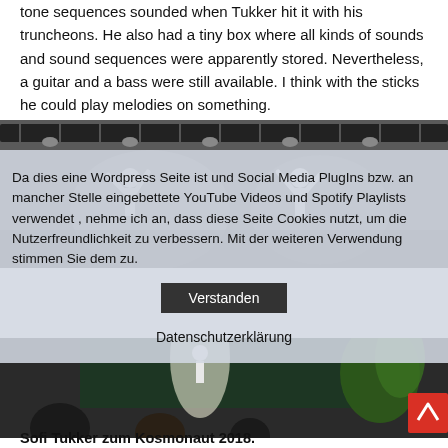tone sequences sounded when Tukker hit it with his truncheons. He also had a tiny box where all kinds of sounds and sound sequences were apparently stored. Nevertheless, a guitar and a bass were still available. I think with the sticks he could play melodies on something.
[Figure (photo): Concert photo showing performers on stage with overhead truss lighting, overlaid with a cookie consent dialog box in German, and a second concert photo below showing audience and stage performers.]
Sofi Tukker zum Kosmonaut 2018.